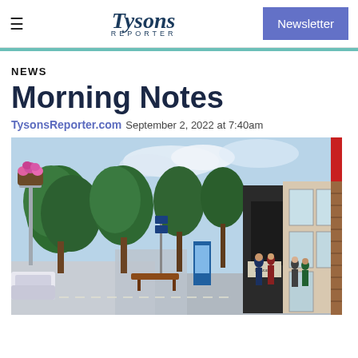Tysons Reporter | Newsletter
NEWS
Morning Notes
TysonsReporter.com  September 2, 2022 at 7:40am
[Figure (photo): Street-level photo of an outdoor shopping district with trees, hanging flower baskets, pedestrians, storefronts, and a bench]